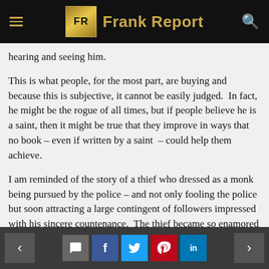Frank Report
hearing and seeing him.
This is what people, for the most part, are buying and because this is subjective, it cannot be easily judged.  In fact, he might be the rogue of all times, but if people believe he is a saint, then it might be true that they improve in ways that no book – even if written by a saint  – could help them achieve.
I am reminded of the story of a thief who dressed as a monk being pursued by the police – and not only fooling the police but soon attracting a large contingent of followers impressed with his sincere countenance.  The thief became so enamored with this new lifestyle that he actually gave up stealing and began to believe in his own saintliness – and if
Navigation and social share buttons